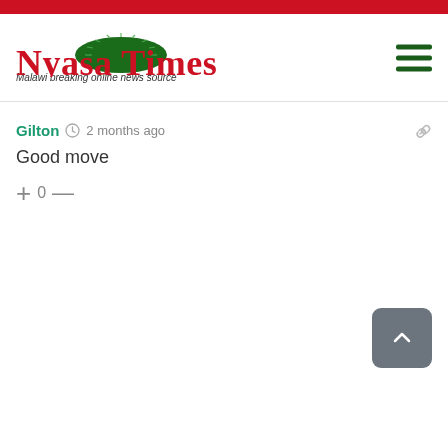Nyasa Times – Malawi breaking online news source
Gilton  2 months ago
Good move
+ 0 —